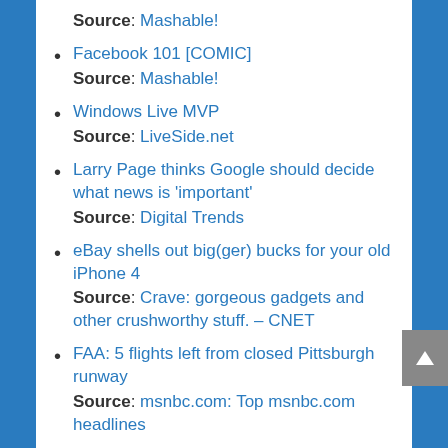Source: Mashable!
Facebook 101 [COMIC]
Source: Mashable!
Windows Live MVP
Source: LiveSide.net
Larry Page thinks Google should decide what news is 'important'
Source: Digital Trends
eBay shells out big(ger) bucks for your old iPhone 4
Source: Crave: gorgeous gadgets and other crushworthy stuff. – CNET
FAA: 5 flights left from closed Pittsburgh runway
Source: msnbc.com: Top msnbc.com headlines